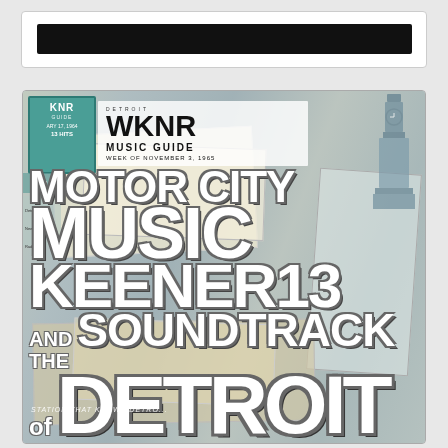[Figure (other): Dark black bar, partial top of a book or card]
[Figure (illustration): Book cover: Motor City Music – Keener 13 and the Soundtrack of Detroit. Background collage of WKNR Music Guide newspapers and radio station materials. Large white bold text overlaid on collage background reading MOTOR CITY MUSIC KEENER13 AND THE SOUNDTRACK OF DETROIT.]